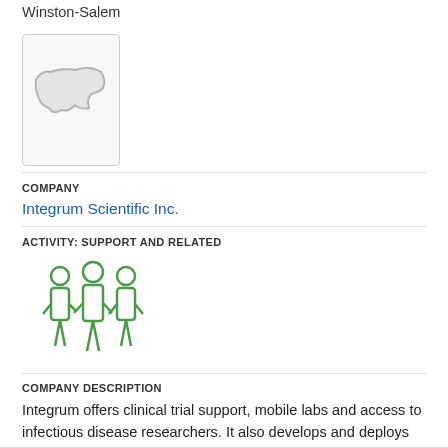Winston-Salem
[Figure (map): Outline map of North Carolina state in light gray on white background]
COMPANY
Integrum Scientific Inc.
ACTIVITY: SUPPORT AND RELATED
[Figure (illustration): Green icon of three people standing side by side representing a group/team]
COMPANY DESCRIPTION
Integrum offers clinical trial support, mobile labs and access to infectious disease researchers. It also develops and deploys mobile labs for domestic and international diagnostic testing, sample collection and treatment, especially in remote areas.